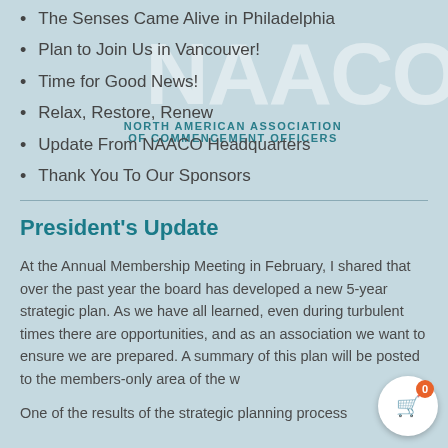The Senses Came Alive in Philadelphia
Plan to Join Us in Vancouver!
Time for Good News!
Relax, Restore, Renew
Update From NAACO Headquarters
Thank You To Our Sponsors
[Figure (logo): NAACO watermark logo with text 'NAACO' in large white letters and 'NORTH AMERICAN ASSOCIATION OF COMMENCEMENT OFFICERS' in teal below]
President's Update
At the Annual Membership Meeting in February, I shared that over the past year the board has developed a new 5-year strategic plan. As we have all learned, even during turbulent times there are opportunities, and as an association we want to ensure we are prepared. A summary of this plan will be posted to the members-only area of the w
One of the results of the strategic planning process